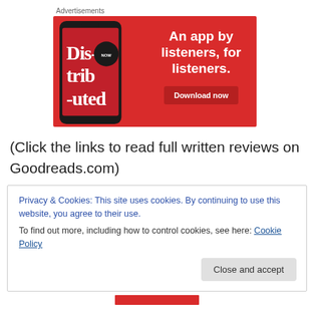Advertisements
[Figure (illustration): Red advertisement banner for an audio app showing a phone with 'Distributed' podcast, text 'An app by listeners, for listeners.' and a 'Download now' button]
(Click the links to read full written reviews on Goodreads.com)
Privacy & Cookies: This site uses cookies. By continuing to use this website, you agree to their use.
To find out more, including how to control cookies, see here: Cookie Policy
Close and accept